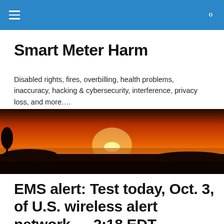Smart Meter Harm [navigation header]
Smart Meter Harm
Disabled rights, fires, overbilling, health problems, inaccuracy, hacking & cybersecurity, interference, privacy loss, and more….
[Figure (photo): Wide panoramic sunset photograph showing a bright orange and red sky with the sun just above the horizon, silhouetted trees and landscape in the foreground.]
EMS alert: Test today, Oct. 3, of U.S. wireless alert network — 2:18 EDT